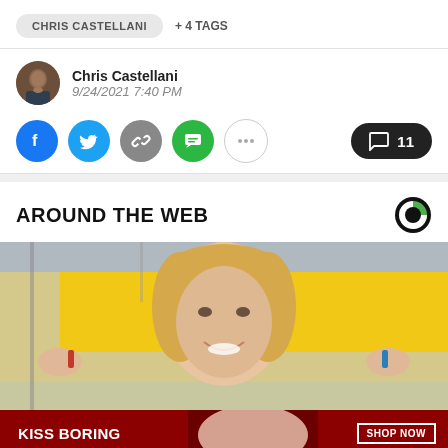CHRIS CASTELLANI  + 4 TAGS
Chris Castellani
9/24/2021 7:40 PM
[Figure (infographic): Social share buttons: Facebook (blue), Twitter (blue), Link (gray), SMS (green), More (white/outlined), and a comment button showing 11 comments]
AROUND THE WEB
[Figure (photo): A smiling blonde woman holding small objects in front of a yellow background]
[Figure (infographic): Macy's advertisement banner: KISS BORING LIPS GOODBYE with SHOP NOW button and Macy's star logo]